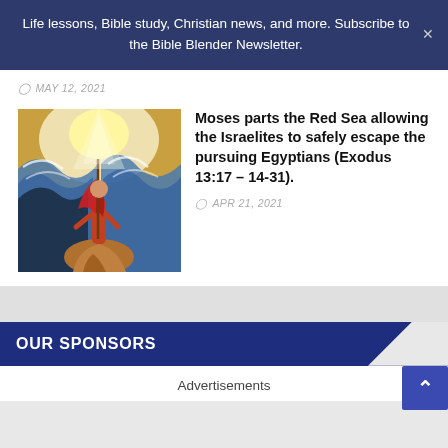Life lessons, Bible study, Christian news, and more. Subscribe to the Bible Blender Newsletter.
MAY 12, 2021
[Figure (illustration): Painting of Moses parting the Red Sea, figure standing on rocks with staff/flag raised, dramatic waves on either side, bright light in sky]
Moses parts the Red Sea allowing the Israelites to safely escape the pursuing Egyptians (Exodus 13:17 – 14-31).
APR 21, 2021
OUR SPONSORS
Advertisements